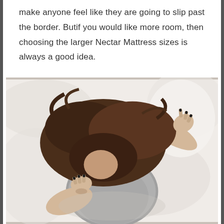make anyone feel like they are going to slip past the border. Butif you would like more room, then choosing the larger Nectar Mattress sizes is always a good idea.
[Figure (photo): Overhead view of a woman lying face-down on a white bed, wearing a grey t-shirt, with long dark brown hair spread out, and dark-painted fingernails visible on both hands]